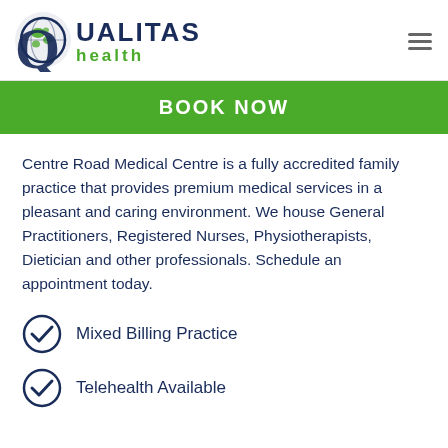[Figure (logo): Qualitas Health logo with globe icon, dark blue Q and 'QUALITAS' text, green 'health' text]
BOOK NOW
Centre Road Medical Centre is a fully accredited family practice that provides premium medical services in a pleasant and caring environment. We house General Practitioners, Registered Nurses, Physiotherapists, Dietician and other professionals. Schedule an appointment today.
Mixed Billing Practice
Telehealth Available